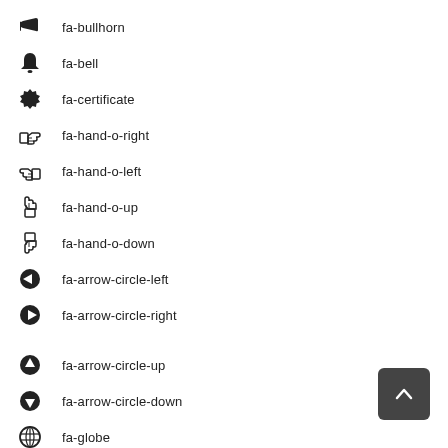fa-bullhorn
fa-bell
fa-certificate
fa-hand-o-right
fa-hand-o-left
fa-hand-o-up
fa-hand-o-down
fa-arrow-circle-left
fa-arrow-circle-right
fa-arrow-circle-up
fa-arrow-circle-down
fa-globe
fa-wrench
[Figure (other): Back to top button with upward chevron arrow]